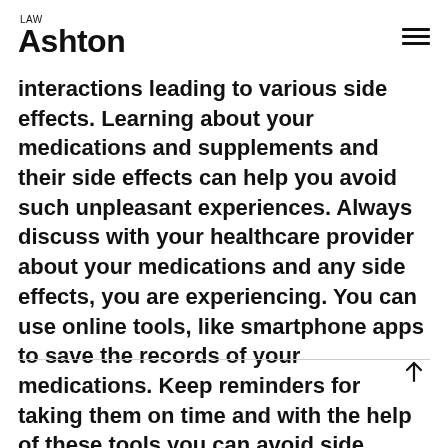LAW Ashton
interactions leading to various side effects. Learning about your medications and supplements and their side effects can help you avoid such unpleasant experiences. Always discuss with your healthcare provider about your medications and any side effects, you are experiencing. You can use online tools, like smartphone apps to save the records of your medications. Keep reminders for taking them on time and with the help of these tools you can avoid side effects of drug interactions.